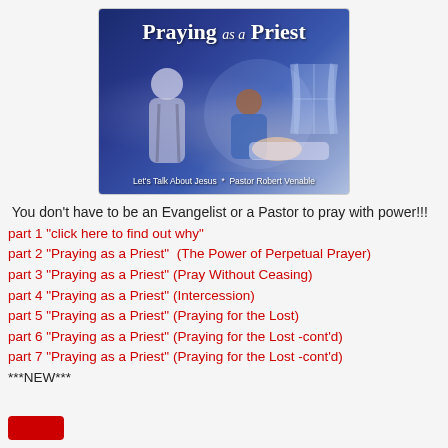[Figure (illustration): Book cover image for 'Praying as a Priest' by Pastor Robert Venable, Let's Talk About Jesus. Blue-toned illustration showing a robed figure praying over a child in a bed, with the title in bold white serif text at the top.]
You don't have to be an Evangelist or a Pastor to pray with power!!!
part 1 "click here to find out why"
part 2 "Praying as a Priest"  (The Power of Perpetual Prayer)
part 3 "Praying as a Priest" (Pray Without Ceasing)
part 4 "Praying as a Priest" (Intercession)
part 5 "Praying as a Priest" (Praying for the Lost)
part 6 "Praying as a Priest" (Praying for the Lost -cont'd)
part 7 "Praying as a Priest" (Praying for the Lost -cont'd)
***NEW***